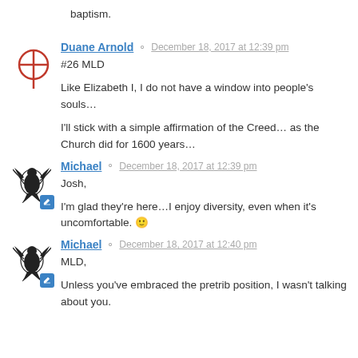baptism.
Duane Arnold  December 18, 2017 at 12:39 pm
#26 MLD

Like Elizabeth I, I do not have a window into people's souls…

I'll stick with a simple affirmation of the Creed… as the Church did for 1600 years…
Michael  December 18, 2017 at 12:39 pm
Josh,

I'm glad they're here…I enjoy diversity, even when it's uncomfortable. 🙂
Michael  December 18, 2017 at 12:40 pm
MLD,

Unless you've embraced the pretrib position, I wasn't talking about you.